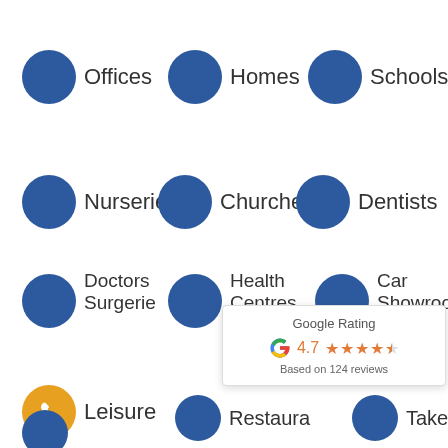Offices
Homes
Schools
Nurseries
Churches
Dentists
Doctors Surgeries
Health Centres
Car Showrooms
Leisure
Restaurants
Takeaway
[Figure (infographic): Google Rating badge showing 4.7 stars based on 124 reviews]